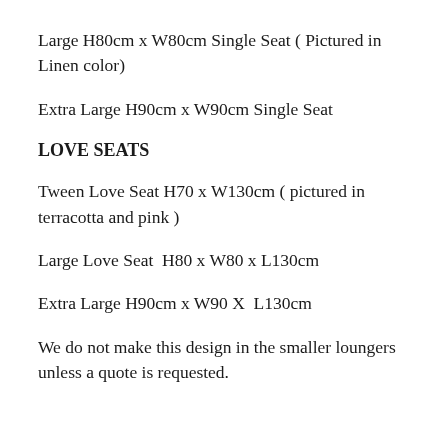Large H80cm x W80cm Single Seat ( Pictured in Linen color)
Extra Large H90cm x W90cm Single Seat
LOVE SEATS
Tween Love Seat H70 x W130cm ( pictured in terracotta and pink )
Large Love Seat  H80 x W80 x L130cm
Extra Large H90cm x W90 X  L130cm
We do not make this design in the smaller loungers unless a quote is requested.